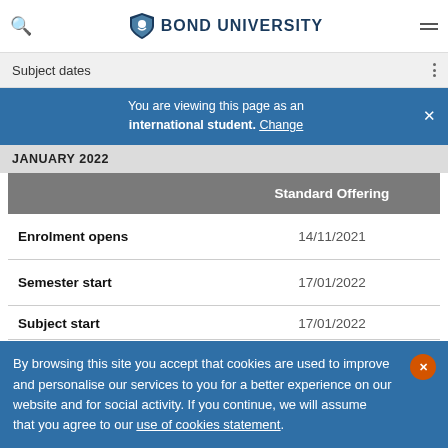BOND UNIVERSITY
Subject dates
You are viewing this page as an international student. Change
JANUARY 2022
|  | Standard Offering |
| --- | --- |
| Enrolment opens | 14/11/2021 |
| Semester start | 17/01/2022 |
| Subject start | 17/01/2022 |
By browsing this site you accept that cookies are used to improve and personalise our services to you for a better experience on our website and for social activity. If you continue, we will assume that you agree to our use of cookies statement.